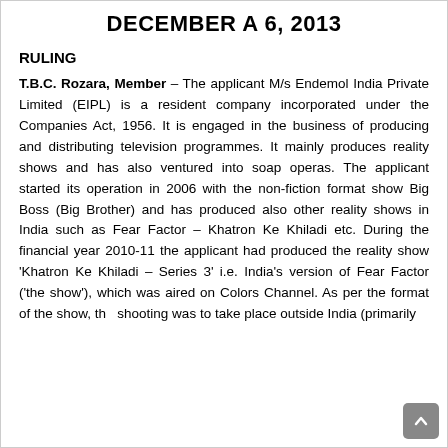DECEMBER A 6, 2013
RULING
T.B.C. Rozara, Member – The applicant M/s Endemol India Private Limited (EIPL) is a resident company incorporated under the Companies Act, 1956. It is engaged in the business of producing and distributing television programmes. It mainly produces reality shows and has also ventured into soap operas. The applicant started its operation in 2006 with the non-fiction format show Big Boss (Big Brother) and has produced also other reality shows in India such as Fear Factor – Khatron Ke Khiladi etc. During the financial year 2010-11 the applicant had produced the reality show 'Khatron Ke Khiladi – Series 3' i.e. India's version of Fear Factor ('the show'), which was aired on Colors Channel. As per the format of the show, the shooting was to take place outside India (primarily